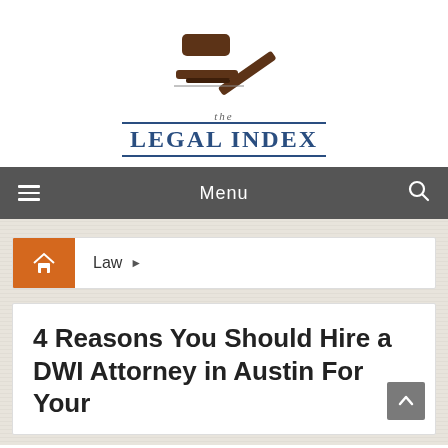[Figure (logo): The Legal Index logo: a brown judge's gavel above the text 'the LEGAL INDEX' in blue serif font with horizontal rules]
Menu
Law ▶
4 Reasons You Should Hire a DWI Attorney in Austin For Your